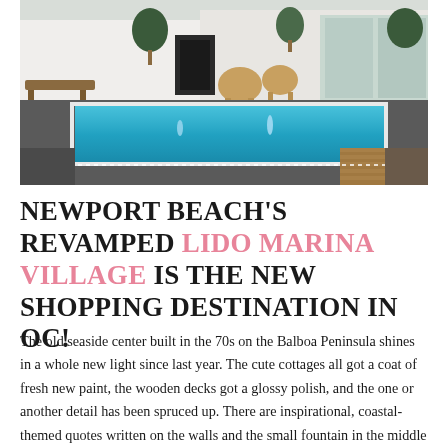[Figure (photo): Outdoor pool area at Lido Marina Village, Newport Beach. A rectangular swimming pool with clear blue water and small fountains, surrounded by a dark stone deck and white wooden deck area. The background shows white-painted buildings with a glass storefront, potted trees, and wooden outdoor furniture including a bench and chairs.]
NEWPORT BEACH'S REVAMPED LIDO MARINA VILLAGE IS THE NEW SHOPPING DESTINATION IN OC!
The old seaside center built in the 70s on the Balboa Peninsula shines in a whole new light since last year. The cute cottages all got a coat of fresh new paint, the wooden decks got a glossy polish, and the one or another detail has been spruced up. There are inspirational, coastal-themed quotes written on the walls and the small fountain in the middle of the center